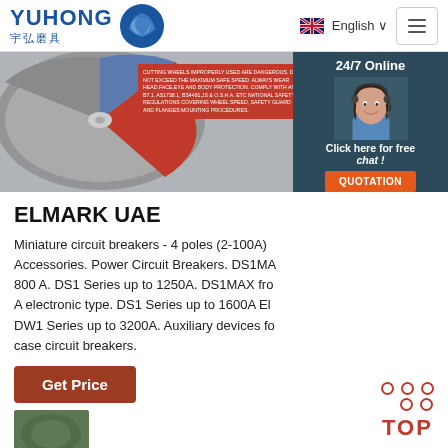YUHONG 宇弘磨具 | English | Menu
[Figure (photo): A red and grey cutting wheel/abrasive disc with warning text label, partially cropped. On the right is a customer service chat panel showing a female agent with headset, '24/7 Online' text, 'Click here for free chat!' and an orange 'QUOTATION' button.]
ELMARK UAE
Miniature circuit breakers - 4 poles (2-100A) Accessories. Power Circuit Breakers. DS1MAX 800 A. DS1 Series up to 1250A. DS1MAX from A electronic type. DS1 Series up to 1600A El DW1 Series up to 3200A. Auxiliary devices for case circuit breakers.
[Figure (photo): Orange 'Get Price' button (brown/rust colored rounded rectangle)]
[Figure (illustration): Red 'TOP' button with three dots arranged in a triangle shape above the text, indicating scroll-to-top functionality]
[Figure (photo): Partially visible green/dark product image at bottom left, cropped]